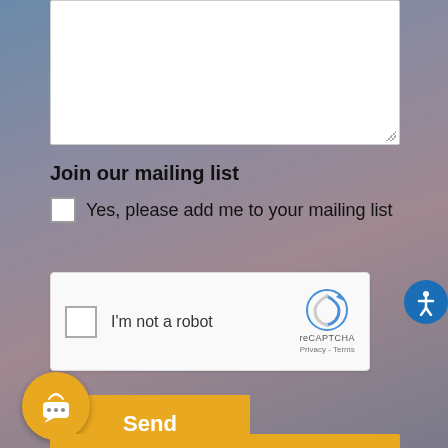[Figure (screenshot): White textarea input box with resize handle at bottom-right corner]
Join our mailing list
Yes, please add me to your mailing list
[Figure (other): reCAPTCHA widget with checkbox 'I'm not a robot' and reCAPTCHA logo with Privacy and Terms links]
[Figure (other): Send Information button in golden/amber color]
[Figure (other): Chat bubble floating action button in golden/amber color with signal waves icon]
[Figure (other): Accessibility icon button (blue circle with person icon) on the right side]
[Figure (other): Bottom golden/amber bar partially visible at page bottom]